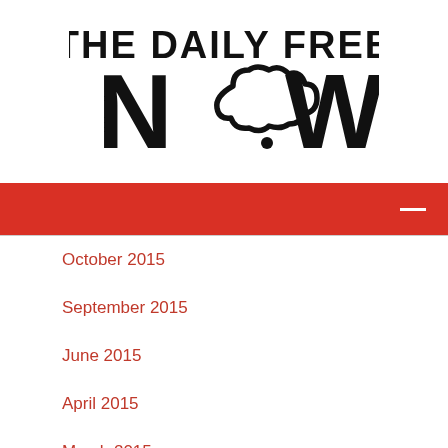[Figure (logo): The Daily Free NOW logo with stylized text and cloud shape replacing the 'O' in NOW]
[Figure (other): Red navigation bar with hamburger menu icon (three horizontal white lines) on the right]
October 2015
September 2015
June 2015
April 2015
March 2015
February 2015